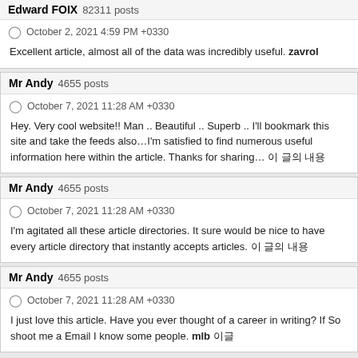Edward FOIX  82311 posts
October 2, 2021 4:59 PM +0330
Excellent article, almost all of the data was incredibly useful. zavrol
Mr Andy  4655 posts
October 7, 2021 11:28 AM +0330
Hey. Very cool website!! Man .. Beautiful .. Superb .. I'll bookmark this site and take the feeds also…I'm satisfied to find numerous useful information here within the article. Thanks for sharing… 이 글의 내용
Mr Andy  4655 posts
October 7, 2021 11:28 AM +0330
I'm agitated all these article directories. It sure would be nice to have every article directory that instantly accepts articles. 이 글의 내용
Mr Andy  4655 posts
October 7, 2021 11:28 AM +0330
I just love this article. Have you ever thought of a career in writing? If So shoot me a Email I know some people. mlb 이글